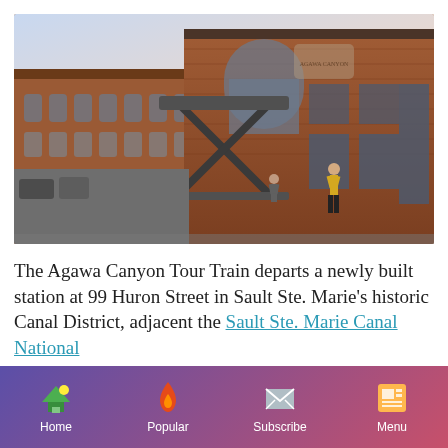[Figure (photo): Exterior photo of a newly built brick train station building with a modern metal canopy/entrance structure. The building has arched windows and brick facade. Several people are visible walking near the entrance. A parking lot is visible to the left with another brick building in the background. The sky is hazy/overcast.]
The Agawa Canyon Tour Train departs a newly built station at 99 Huron Street in Sault Ste. Marie's historic Canal District, adjacent the Sault Ste. Marie Canal National